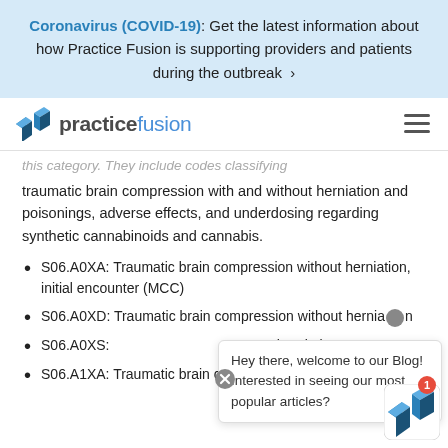Coronavirus (COVID-19): Get the latest information about how Practice Fusion is supporting providers and patients during the outbreak >
[Figure (logo): Practice Fusion logo with blue cube icon and hamburger menu]
this category. They include codes classifying traumatic brain compression with and without herniation and poisonings, adverse effects, and underdosing regarding synthetic cannabinoids and cannabis.
S06.A0XA: Traumatic brain compression without herniation, initial encounter (MCC)
S06.A0XD: Traumatic brain compression without herniation
S06.A0XS: Traumatic brain compression without herniation
S06.A1XA: Traumatic brain compression with